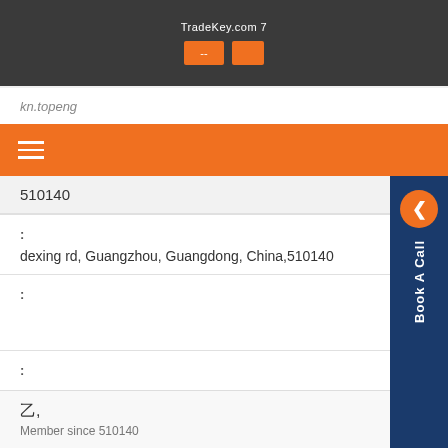TradeKey.com 7
kn.topeng
510140
地址: dexing rd, Guangzhou, Guangdong, China,510140
主营产品:
广州德兴路
主要市场:
广州德兴路
乙,
Member since 510140